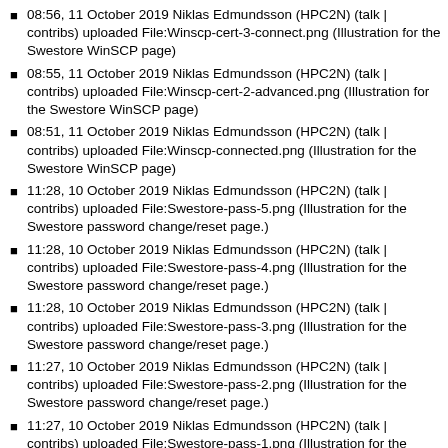08:56, 11 October 2019 Niklas Edmundsson (HPC2N) (talk | contribs) uploaded File:Winscp-cert-3-connect.png (Illustration for the Swestore WinSCP page)
08:55, 11 October 2019 Niklas Edmundsson (HPC2N) (talk | contribs) uploaded File:Winscp-cert-2-advanced.png (Illustration for the Swestore WinSCP page)
08:51, 11 October 2019 Niklas Edmundsson (HPC2N) (talk | contribs) uploaded File:Winscp-connected.png (Illustration for the Swestore WinSCP page)
11:28, 10 October 2019 Niklas Edmundsson (HPC2N) (talk | contribs) uploaded File:Swestore-pass-5.png (Illustration for the Swestore password change/reset page.)
11:28, 10 October 2019 Niklas Edmundsson (HPC2N) (talk | contribs) uploaded File:Swestore-pass-4.png (Illustration for the Swestore password change/reset page.)
11:28, 10 October 2019 Niklas Edmundsson (HPC2N) (talk | contribs) uploaded File:Swestore-pass-3.png (Illustration for the Swestore password change/reset page.)
11:27, 10 October 2019 Niklas Edmundsson (HPC2N) (talk | contribs) uploaded File:Swestore-pass-2.png (Illustration for the Swestore password change/reset page.)
11:27, 10 October 2019 Niklas Edmundsson (HPC2N) (talk | contribs) uploaded File:Swestore-pass-1.png (Illustration for the Swestore password change/reset page.)
13:59, 26 September 2019 Kent Engström (NSC) (talk | contribs) uploaded File:...